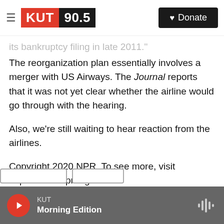KUT 90.5 | Donate
its bankruptcy filing in late 2011."
The reorganization plan essentially involves a merger with US Airways. The Journal reports that it was not yet clear whether the airline would go through with the hearing.
Also, we're still waiting to hear reaction from the airlines.
Copyright 2020 NPR. To see more, visit https://www.npr.org.
KUT Morning Edition